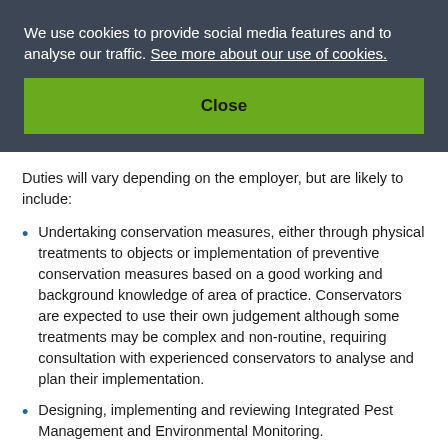We use cookies to provide social media features and to analyse our traffic. See more about our use of cookies.
Close
Duties will vary depending on the employer, but are likely to include:
Undertaking conservation measures, either through physical treatments to objects or implementation of preventive conservation measures based on a good working and background knowledge of area of practice. Conservators are expected to use their own judgement although some treatments may be complex and non-routine, requiring consultation with experienced conservators to analyse and plan their implementation.
Designing, implementing and reviewing Integrated Pest Management and Environmental Monitoring.
Assessment and management of risk to collections on